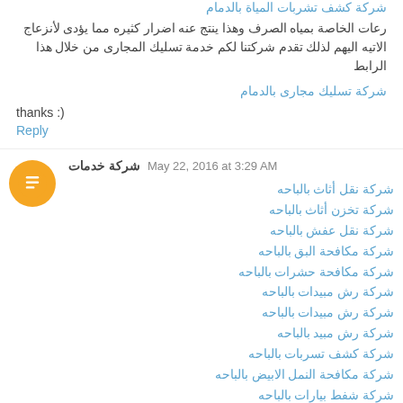شركة كشف تشربات المياة بالدمام
رعات الخاصة بمياه الصرف وهذا ينتج عنه اضرار كثيره مما يؤدى لأنزعاج الاتيه اليهم لذلك تقدم شركتنا لكم خدمة تسليك المجارى من خلال هذا الرابط
شركة تسليك مجارى بالدمام
thanks :)
Reply
شركة خدمات  May 22, 2016 at 3:29 AM
شركة نقل أثاث بالباحه
شركة تخزن أثاث بالباحه
شركة نقل عفش بالباحه
شركة مكافحة البق بالباحه
شركة مكافحة حشرات بالباحه
شركة رش مبيدات بالباحه
شركة رش مبيدات بالباحه
شركة رش مبيد بالباحه
شركة كشف تسربات بالباحه
شركة مكافحة النمل الابيض بالباحه
شركة شفط بيارات بالباحه
شركة تسليك مجارى بالباحه